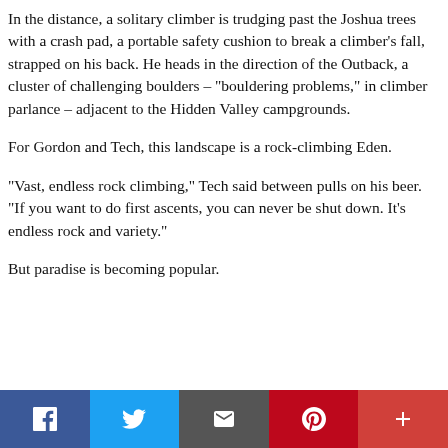In the distance, a solitary climber is trudging past the Joshua trees with a crash pad, a portable safety cushion to break a climber’s fall, strapped on his back. He heads in the direction of the Outback, a cluster of challenging boulders – “bouldering problems,” in climber parlance – adjacent to the Hidden Valley campgrounds.
For Gordon and Tech, this landscape is a rock-climbing Eden.
“Vast, endless rock climbing,” Tech said between pulls on his beer. “If you want to do first ascents, you can never be shut down. It’s endless rock and variety.”
But paradise is becoming popular.
[Figure (infographic): Social media sharing bar with five buttons: Facebook (blue), Twitter (light blue), Email (dark gray), Pinterest (red), and a plus/more button (red-orange)]